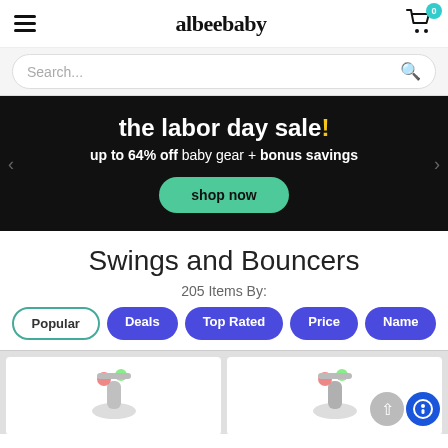albeebaby
Search...
[Figure (infographic): Labor Day sale banner: 'the labor day sale! up to 64% off baby gear + bonus savings' with a 'shop now' button on black background]
Swings and Bouncers
205 Items By:
Popular
Deals
Top Rated
Price
Name
[Figure (photo): Partial product images of swings/bouncers at the bottom of the page]